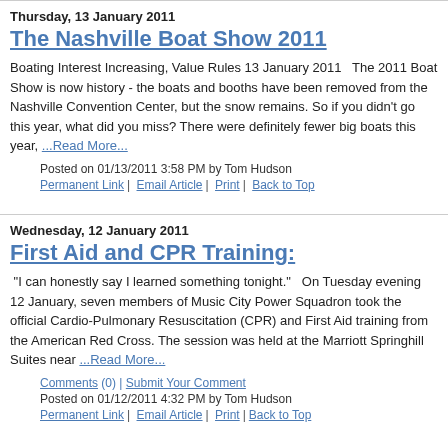Thursday, 13 January 2011
The Nashville Boat Show 2011
Boating Interest Increasing, Value Rules 13 January 2011   The 2011 Boat Show is now history - the boats and booths have been removed from the Nashville Convention Center, but the snow remains. So if you didn't go this year, what did you miss? There were definitely fewer big boats this year, ...Read More...
Posted on 01/13/2011 3:58 PM by Tom Hudson
Permanent Link | Email Article | Print | Back to Top
Wednesday, 12 January 2011
First Aid and CPR Training:
"I can honestly say I learned something tonight."   On Tuesday evening 12 January, seven members of Music City Power Squadron took the official Cardio-Pulmonary Resuscitation (CPR) and First Aid training from the American Red Cross. The session was held at the Marriott Springhill Suites near ...Read More...
Comments (0) | Submit Your Comment
Posted on 01/12/2011 4:32 PM by Tom Hudson